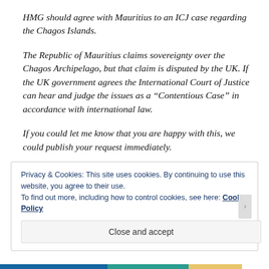HMG should agree with Mauritius to an ICJ case regarding the Chagos Islands.
The Republic of Mauritius claims sovereignty over the Chagos Archipelago, but that claim is disputed by the UK. If the UK government agrees the International Court of Justice can hear and judge the issues as a “Contentious Case” in accordance with international law.
If you could let me know that you are happy with this, we could publish your request immediately.
Privacy & Cookies: This site uses cookies. By continuing to use this website, you agree to their use.
To find out more, including how to control cookies, see here: Cookie Policy
Close and accept